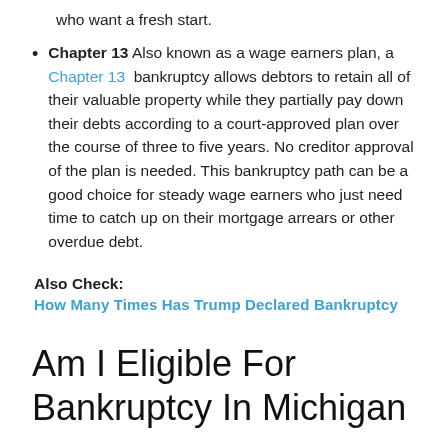who want a fresh start.
Chapter 13 Also known as a wage earners plan, a Chapter 13 bankruptcy allows debtors to retain all of their valuable property while they partially pay down their debts according to a court-approved plan over the course of three to five years. No creditor approval of the plan is needed. This bankruptcy path can be a good choice for steady wage earners who just need time to catch up on their mortgage arrears or other overdue debt.
Also Check:
How Many Times Has Trump Declared Bankruptcy
Am I Eligible For Bankruptcy In Michigan